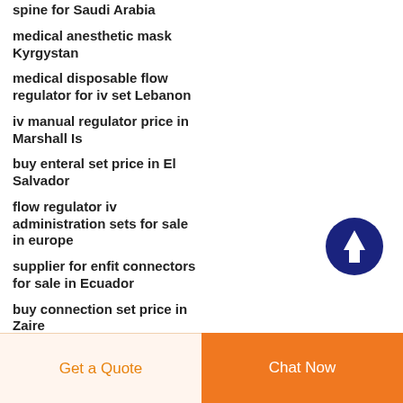spine for Saudi Arabia
medical anesthetic mask Kyrgystan
medical disposable flow regulator for iv set Lebanon
iv manual regulator price in Marshall Is
buy enteral set price in El Salvador
flow regulator iv administration sets for sale in europe
supplier for enfit connectors for sale in Ecuador
buy connection set price in Zaire
medical pvc mask factory
Get a Quote
Chat Now